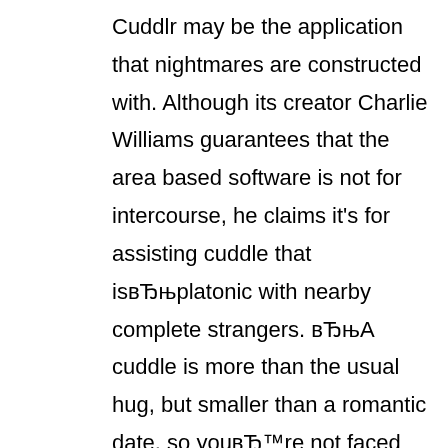Cuddlr may be the application that nightmares are constructed with. Although its creator Charlie Williams guarantees that the area based software is not for intercourse, he claims it's for assisting cuddle that isBтњplatonic with nearby complete strangers. BтњA cuddle is more than the usual hug, but smaller than a romantic date, so youBт™re not faced with being forced to stay through a glass or two or two in the event that youBт™ve determined someone is not for you personally,Bтк he explained to